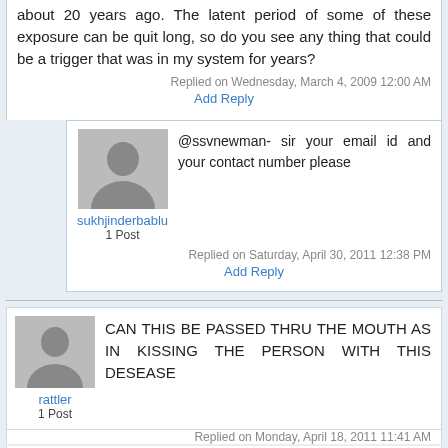about 20 years ago. The latent period of some of these exposure can be quit long, so do you see any thing that could be a trigger that was in my system for years?
Replied on Wednesday, March 4, 2009 12:00 AM
Add Reply
@ssvnewman- sir your email id and your contact number please
sukhjinderbablu
1 Post
Replied on Saturday, April 30, 2011 12:38 PM
Add Reply
CAN THIS BE PASSED THRU THE MOUTH AS IN KISSING THE PERSON WITH THIS DESEASE
rattler
1 Post
Replied on Monday, April 18, 2011 11:41 AM
Add Reply